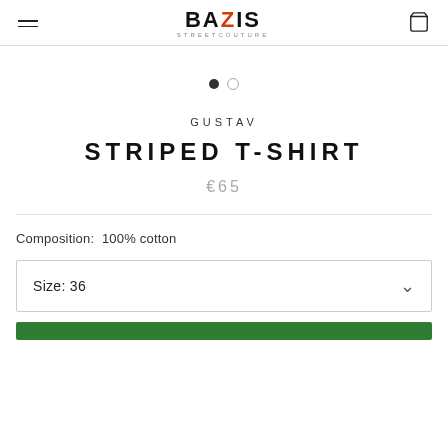BAZIS STREETCOUTURE
[Figure (other): Carousel navigation dots: one filled dark circle, one empty circle]
GUSTAV
STRIPED T-SHIRT
€65
Composition:  100% cotton
Size: 36